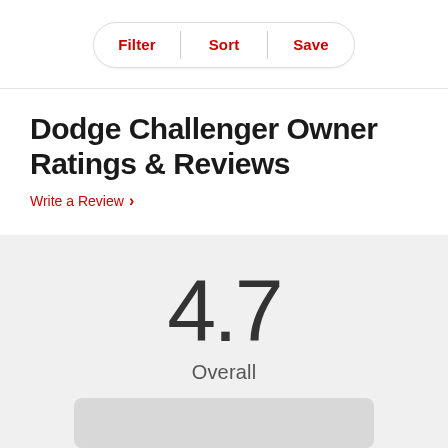Filter | Sort | Save
Dodge Challenger Owner Ratings & Reviews
Write a Review >
4.7 Overall
6 Reviews